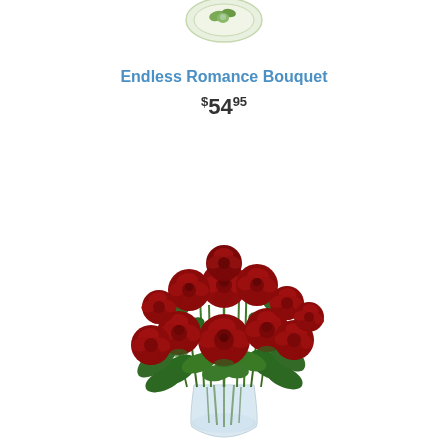[Figure (photo): Partial view of another floral product at the very top of the page, cropped]
Endless Romance Bouquet
$54.95
[Figure (photo): A bouquet of approximately a dozen deep red roses with green foliage arranged in a clear glass vase]